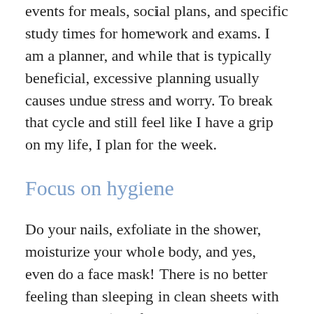events for meals, social plans, and specific study times for homework and exams. I am a planner, and while that is typically beneficial, excessive planning usually causes undue stress and worry. To break that cycle and still feel like I have a grip on my life, I plan for the week.
Focus on hygiene
Do your nails, exfoliate in the shower, moisturize your whole body, and yes, even do a face mask! There is no better feeling than sleeping in clean sheets with a clean body (and freshly shaved legs), and your self-care Sunday routine will allow you to